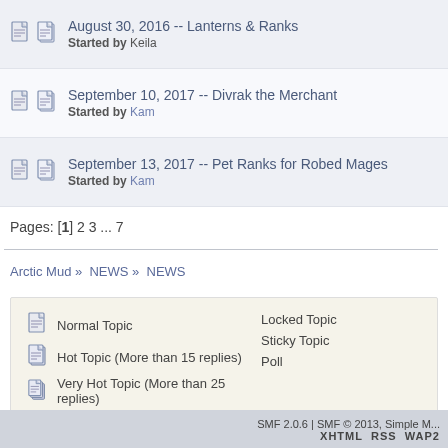August 30, 2016 -- Lanterns & Ranks
Started by Keila
September 10, 2017 -- Divrak the Merchant
Started by Kam
September 13, 2017 -- Pet Ranks for Robed Mages
Started by Kam
Pages: [1] 2 3 ... 7
Arctic Mud » NEWS » NEWS
Normal Topic
Hot Topic (More than 15 replies)
Very Hot Topic (More than 25 replies)
Locked Topic
Sticky Topic
Poll
SMF 2.0.6 | SMF © 2013, Simple M...
XHTML  RSS  WAP2